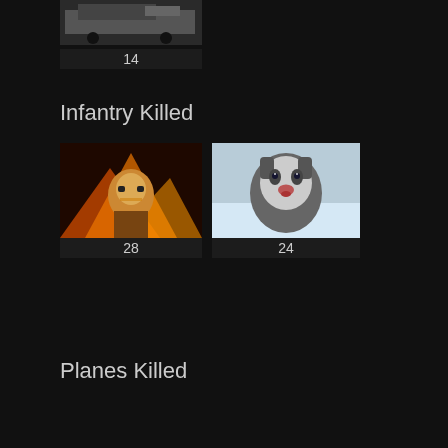[Figure (photo): Vehicle thumbnail with number 14 below]
Infantry Killed
[Figure (photo): Soldier/firefighter in flames thumbnail with number 28 below]
[Figure (photo): Husky dog thumbnail with number 24 below]
Planes Killed
Ships Killed
Buildings Killed
[Figure (photo): Snowy scene with equipment thumbnail with number 1 below]